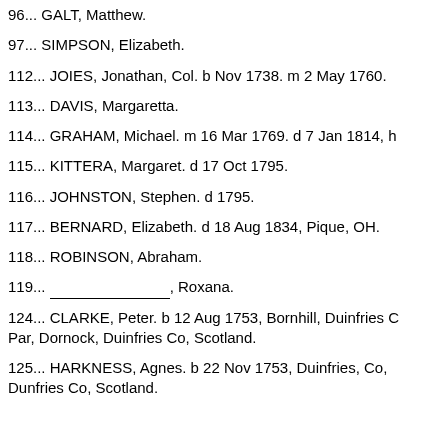96... GALT, Matthew.
97... SIMPSON, Elizabeth.
112... JOIES, Jonathan, Col. b Nov 1738. m 2 May 1760.
113... DAVIS, Margaretta.
114... GRAHAM, Michael. m 16 Mar 1769. d 7 Jan 1814,
115... KITTERA, Margaret. d 17 Oct 1795.
116... JOHNSTON, Stephen. d 1795.
117... BERNARD, Elizabeth. d 18 Aug 1834, Pique, OH.
118... ROBINSON, Abraham.
119... _______________, Roxana.
124... CLARKE, Peter. b 12 Aug 1753, Bornhill, Duinfries Co Par, Dornock, Duinfries Co, Scotland.
125... HARKNESS, Agnes. b 22 Nov 1753, Duinfries, Co, Dunfries Co, Scotland.